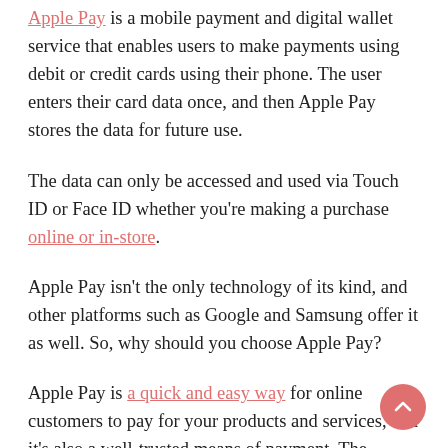Apple Pay is a mobile payment and digital wallet service that enables users to make payments using debit or credit cards using their phone. The user enters their card data once, and then Apple Pay stores the data for future use.
The data can only be accessed and used via Touch ID or Face ID whether you're making a purchase online or in-store.
Apple Pay isn't the only technology of its kind, and other platforms such as Google and Samsung offer it as well. So, why should you choose Apple Pay?
Apple Pay is a quick and easy way for online customers to pay for your products and services, and it's also a well-trusted means of payment. The 'Apple Pay' logo is